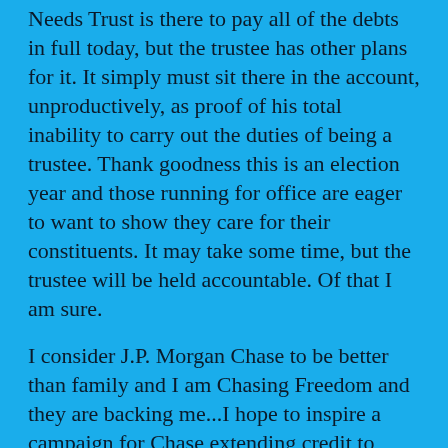Needs Trust is there to pay all of the debts in full today, but the trustee has other plans for it. It simply must sit there in the account, unproductively, as proof of his total inability to carry out the duties of being a trustee. Thank goodness this is an election year and those running for office are eager to want to show they care for their constituents. It may take some time, but the trustee will be held accountable. Of that I am sure.
I consider J.P. Morgan Chase to be better than family and I am Chasing Freedom and they are backing me...I hope to inspire a campaign for Chase extending credit to domestic violence victims so they can Chase their freedom, as well. Dave Ramsey really has no plan for them, as far as I can see, and Chase could save lives.